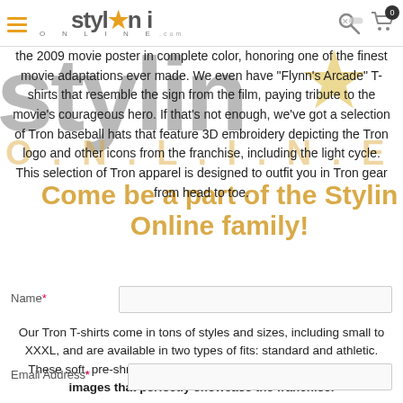Stylin Online header with logo, hamburger menu, search icon, and cart icon
the 2009 movie poster in complete color, honoring one of the finest movie adaptations ever made. We even have “Flynn’s Arcade” T-shirts that resemble the sign from the film, paying tribute to the movie’s courageous hero. If that’s not enough, we’ve got a selection of Tron baseball hats that feature 3D embroidery depicting the Tron logo and other icons from the franchise, including the light cycle. This selection of Tron apparel is designed to outfit you in Tron gear from head to toe.
Come be a part of the Stylin Online family!
Name*
Email Address*
Our Tron T-shirts come in tons of styles and sizes, including small to XXXL, and are available in two types of fits: standard and athletic. These soft, pre-shrunk cotton T-shirts feature officially licensed images that perfectly showcase the franchise.